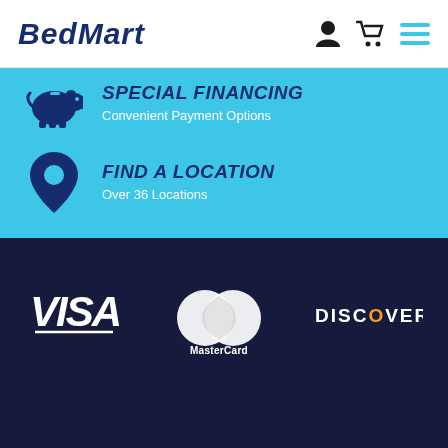BedMart
SPECIAL FINANCING — Convenient Payment Options
FIND A LOCATION — Over 36 Locations
[Figure (logo): VISA logo in white on dark navy background]
[Figure (logo): MasterCard logo — two overlapping circles (white) with MasterCard text]
[Figure (logo): DISCOVER logo in white text on dark navy background]